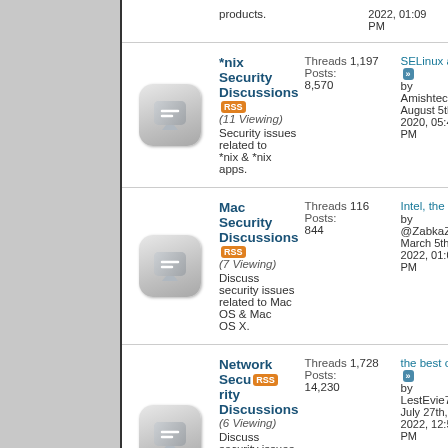*nix Security Discussions (11 Viewing) Security issues related to *nix & *nix apps. Threads 1,197 Posts: 8,570 SELinux and Trusted BSD by Amishtechie August 5th, 2020, 05:40 PM
Mac Security Discussions (7 Viewing) Discuss security issues related to Mac OS & Mac OS X. Threads 116 Posts: 844 Intel, the end of Mac... by @ZabkaZab March 5th, 2022, 01:04 PM
Network Security Discussions (6 Viewing) Discuss security issues related to routers, switches, etc., & protocols. Threads 1,728 Posts: 14,230 the best online solution for... by LestEvie74 July 27th, 2022, 12:56 PM
Phishing and be Scams (5 Viewing) Been hit by a new phishing scam lately? This is the place to discuss it! Threads 269 Posts: 1,683 Information on Cyber Security by rlirpa July 13th, 2022, 02:37